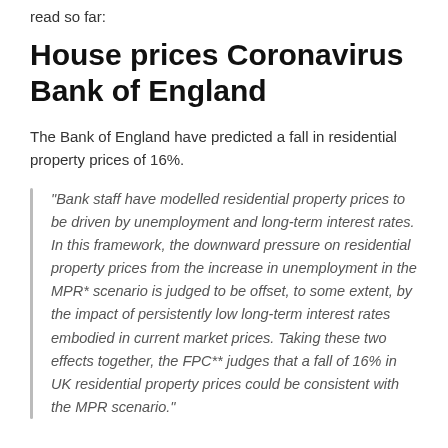read so far:
House prices Coronavirus Bank of England
The Bank of England have predicted a fall in residential property prices of 16%.
“Bank staff have modelled residential property prices to be driven by unemployment and long-term interest rates. In this framework, the downward pressure on residential property prices from the increase in unemployment in the MPR* scenario is judged to be offset, to some extent, by the impact of persistently low long-term interest rates embodied in current market prices. Taking these two effects together, the FPC** judges that a fall of 16% in UK residential property prices could be consistent with the MPR scenario.”